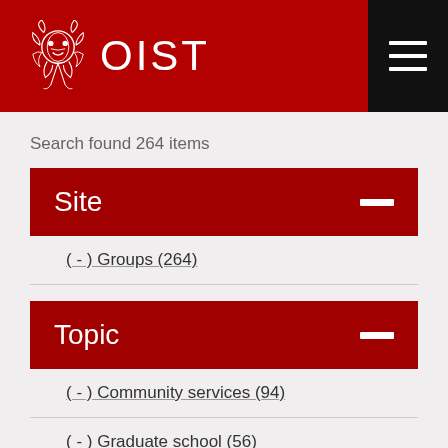OIST
Search found 264 items
Site
( - ) Groups (264)
Topic
( - ) Community services (94)
( - ) Graduate school (56)